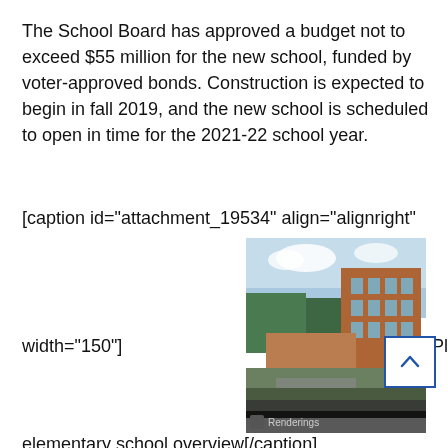The School Board has approved a budget not to exceed $55 million for the new school, funded by voter-approved bonds. Construction is expected to begin in fall 2019, and the new school is scheduled to open in time for the 2021-22 school year.
[caption id="attachment_19534" align="alignright"
[Figure (photo): Architectural rendering of the planned Reed site elementary school, showing a modern multi-story brick building with landscaped grounds. A dark bar at the bottom shows a thumbnail and the label 'Renderings'.]
width="150"]
Planned Reed site
elementary school overview[/caption]
The approved plan included modifications of the Zoning Ordinance requirements for height, setbacks and parking. The new school will include two and four-story heights, fo